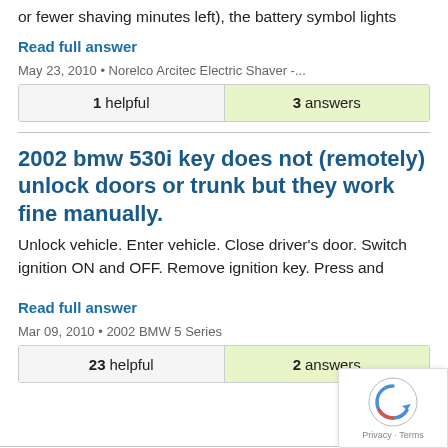or fewer shaving minutes left), the battery symbol lights
Read full answer
May 23, 2010 • Norelco Arcitec Electric Shaver -...
| 1 helpful | 3 answers |
| --- | --- |
2002 bmw 530i key does not (remotely) unlock doors or trunk but they work fine manually.
Unlock vehicle. Enter vehicle. Close driver's door. Switch ignition ON and OFF. Remove ignition key. Press and
Read full answer
Mar 09, 2010 • 2002 BMW 5 Series
| 23 helpful | 2 answers |
| --- | --- |